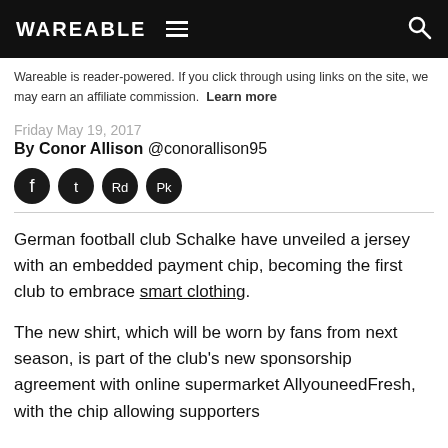WAREABLE
Wareable is reader-powered. If you click through using links on the site, we may earn an affiliate commission. Learn more
Friday May 19, 2017
By Conor Allison @conorallison95
[Figure (other): Social sharing icons: Facebook, Twitter, Reddit, Pocket]
German football club Schalke have unveiled a jersey with an embedded payment chip, becoming the first club to embrace smart clothing.
The new shirt, which will be worn by fans from next season, is part of the club's new sponsorship agreement with online supermarket AllyouneedFresh, with the chip allowing supporters